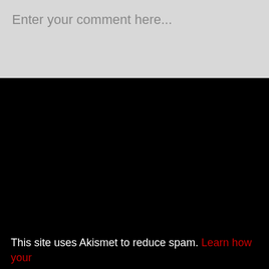Enter your comment here...
This site uses Akismet to reduce spam. Learn how your